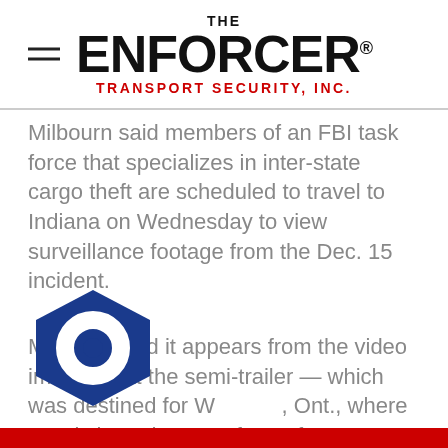THE ENFORCER® TRANSPORT SECURITY, INC.
Milbourn said members of an FBI task force that specializes in inter-state cargo theft are scheduled to travel to Indiana on Wednesday to view surveillance footage from the Dec. 15 incident.
Milbourn said it appears from the video images that the semi-trailer — which was destined for Waterloo, Ont., where RIM is based — was found from a distribution warehouse in Plainfield, Indiana, and...